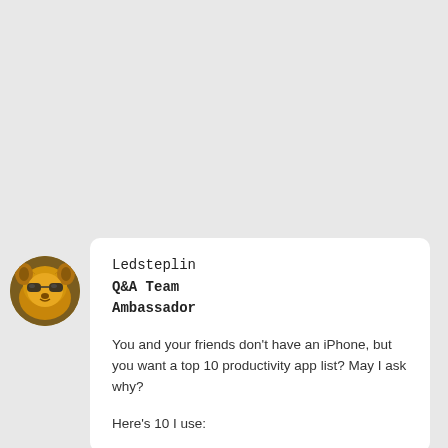[Figure (photo): Circular avatar photo of a golden dog/bear-like animal with sunglasses, outdoors]
Ledsteplin
Q&A Team
Ambassador
You and your friends don't have an iPhone, but you want a top 10 productivity app list? May I ask why?
Here's 10 I use: